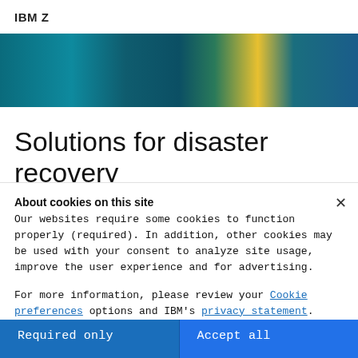IBM Z
[Figure (photo): Hero banner image showing technology/server background with teal, blue, and yellow lighting effects]
Solutions for disaster recovery
Apply services, clustering technologies, server and
About cookies on this site
Our websites require some cookies to function properly (required). In addition, other cookies may be used with your consent to analyze site usage, improve the user experience and for advertising.
For more information, please review your Cookie preferences options and IBM's privacy statement.
Required only
Accept all